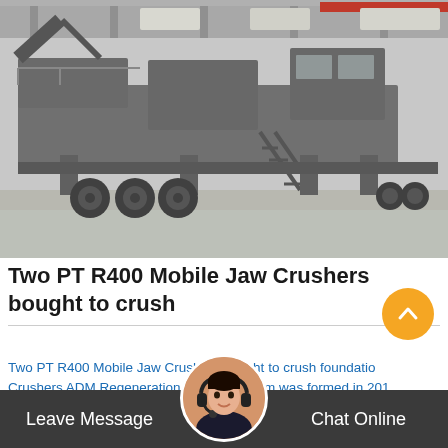[Figure (photo): Large mobile jaw crusher machine on a truck chassis inside an industrial warehouse/factory, grey tones, black and white photo]
Two PT R400 Mobile Jaw Crushers bought to crush
Two PT R400 Mobile Jaw Crushers bought to crush foundation Crushers ADM Regeneration based in Lymm was formed in 2011 by current owner Adam Mat... undertaking demolition dismantling decommissioning ... works projects initially...
Leave Message   Chat Online